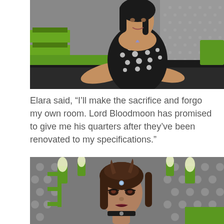[Figure (screenshot): Screenshot from The Sims video game showing a female Sim character with long black hair wearing a black polka-dot halter dress, sitting and gesturing with one hand. The background shows green and grey furniture/decor elements.]
Elara said, “I’ll make the sacrifice and forgo my own room. Lord Bloodmoon has promised to give me his quarters after they’ve been renovated to my specifications.”
[Figure (screenshot): Screenshot from The Sims video game showing a close-up of a female Sim character with dark brown hair styled up, small horns, dramatic makeup, and a jewel on her forehead. Background shows green pipe-style wall sconces and grey textured wall.]